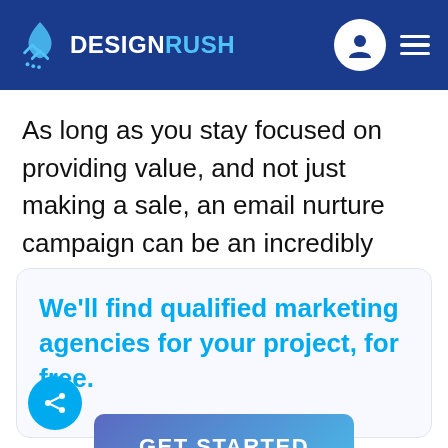DESIGNRUSH
As long as you stay focused on providing value, and not just making a sale, an email nurture campaign can be an incredibly powerful tool for converting leads into customers.
We'll find qualified marketing agencies for your project, for free.
GET STARTED